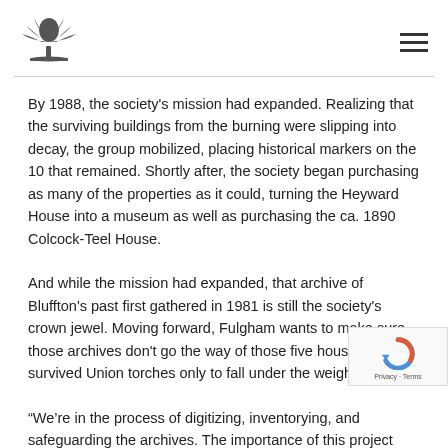[Figure (logo): Tree/palmetto logo icon in dark gray]
By 1988, the society's mission had expanded. Realizing that the surviving buildings from the burning were slipping into decay, the group mobilized, placing historical markers on the 10 that remained. Shortly after, the society began purchasing as many of the properties as it could, turning the Heyward House into a museum as well as purchasing the ca. 1890 Colcock-Teel House.
And while the mission had expanded, that archive of Bluffton's past first gathered in 1981 is still the society's crown jewel. Moving forward, Fulgham wants to make sure those archives don't go the way of those five houses that survived Union torches only to fall under the weight of time.
“We’re in the process of digitizing, inventorying, and safeguarding the archives. The importance of this project